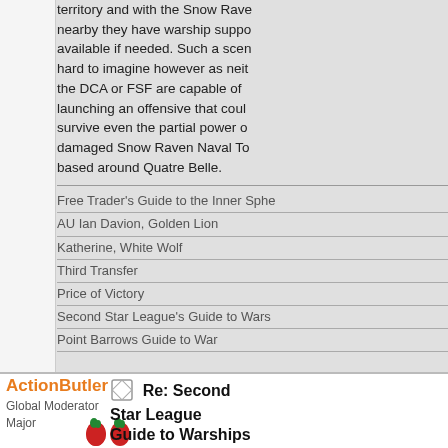territory and with the Snow Raven nearby they have warship support available if needed. Such a scenario hard to imagine however as neither the DCA or FSF are capable of launching an offensive that could survive even the partial power of a damaged Snow Raven Naval ToC based around Quatre Belle.
Free Trader's Guide to the Inner Sphere
AU Ian Davion, Golden Lion
Katherine, White Wolf
Third Transfer
Price of Victory
Second Star League's Guide to Warships
Point Barrows Guide to War
ActionButler
Global Moderator
Major
Re: Second Star League Guide to Warships
« Reply #23 on: 09 March 2021, 11:03:50 »